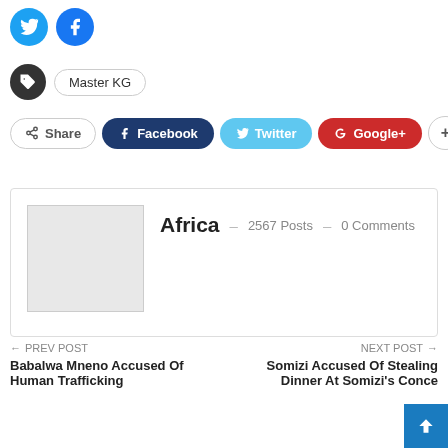[Figure (illustration): Twitter and Facebook social media icon circles at top left]
Master KG
Share  Facebook  Twitter  Google+  +
Africa  -  2567 Posts  -  0 Comments
← PREV POST
Babalwa Mneno Accused Of Human Trafficking
NEXT POST →
Somizi Accused Of Stealing Dinner At Somizi's Conce...